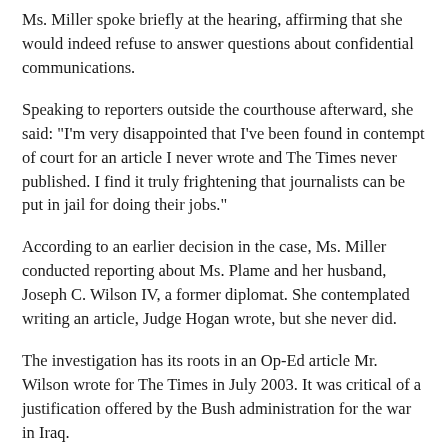Ms. Miller spoke briefly at the hearing, affirming that she would indeed refuse to answer questions about confidential communications.
Speaking to reporters outside the courthouse afterward, she said: "I'm very disappointed that I've been found in contempt of court for an article I never wrote and The Times never published. I find it truly frightening that journalists can be put in jail for doing their jobs."
According to an earlier decision in the case, Ms. Miller conducted reporting about Ms. Plame and her husband, Joseph C. Wilson IV, a former diplomat. She contemplated writing an article, Judge Hogan wrote, but she never did.
The investigation has its roots in an Op-Ed article Mr. Wilson wrote for The Times in July 2003. It was critical of a justification offered by the Bush administration for the war in Iraq.
Ms. Plame's identity was disclosed by Mr. Novak in his column eight days later. "Two senior administration officials,"